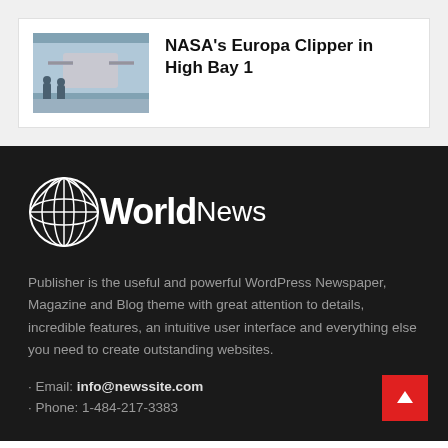[Figure (photo): Thumbnail photo of NASA's Europa Clipper spacecraft in a clean room facility (High Bay 1)]
NASA's Europa Clipper in High Bay 1
[Figure (logo): World News logo — globe icon with 'World' in bold white and 'News' in regular white]
Publisher is the useful and powerful WordPress Newspaper, Magazine and Blog theme with great attention to details, incredible features, an intuitive user interface and everything else you need to create outstanding websites.
• Email: info@newssite.com
• Phone: 1-484-217-3383